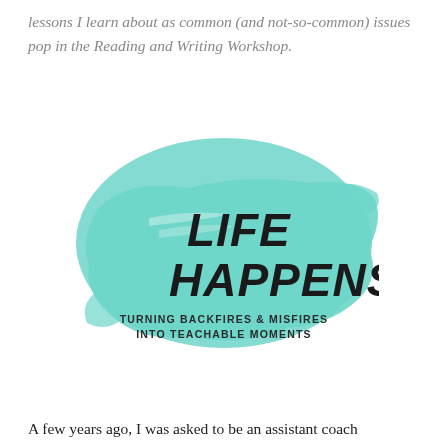lessons I learn about as common (and not-so-common) issues pop in the Reading and Writing Workshop.
[Figure (logo): Teal paint-brush splash logo with bold black text reading 'LIFE HAPPENS' and smaller text 'TURNING BACKFIRES & MISFIRES INTO TEACHABLE MOMENTS']
A few years ago, I was asked to be an assistant coach